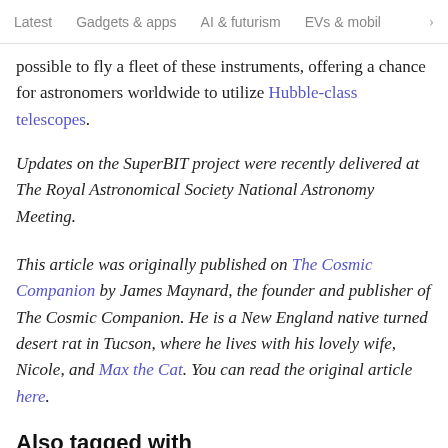Latest   Gadgets & apps   AI & futurism   EVs & mobil >
possible to fly a fleet of these instruments, offering a chance for astronomers worldwide to utilize Hubble-class telescopes.
Updates on the SuperBIT project were recently delivered at The Royal Astronomical Society National Astronomy Meeting.
This article was originally published on The Cosmic Companion by James Maynard, the founder and publisher of The Cosmic Companion. He is a New England native turned desert rat in Tucson, where he lives with his lovely wife, Nicole, and Max the Cat. You can read the original article here.
Also tagged with